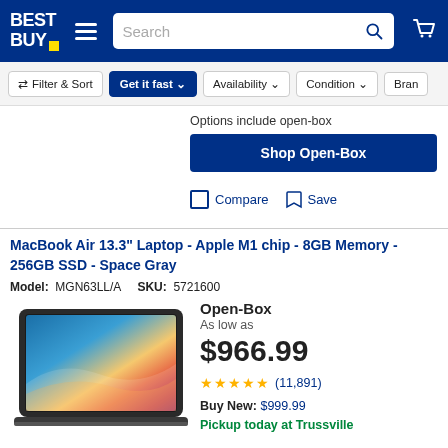Best Buy — Search bar — Cart
Filter & Sort | Get it fast | Availability | Condition | Brand
Options include open-box
Shop Open-Box
Compare   Save
MacBook Air 13.3" Laptop - Apple M1 chip - 8GB Memory - 256GB SSD - Space Gray
Model: MGN63LL/A   SKU: 5721600
[Figure (photo): MacBook Air laptop with colorful gradient wallpaper (orange, red, pink, blue, teal), Space Gray color, open at angle showing the display.]
Open-Box
As low as
$966.99
★★★★★ (11,891)
Buy New: $999.99
Pickup today at Trussville